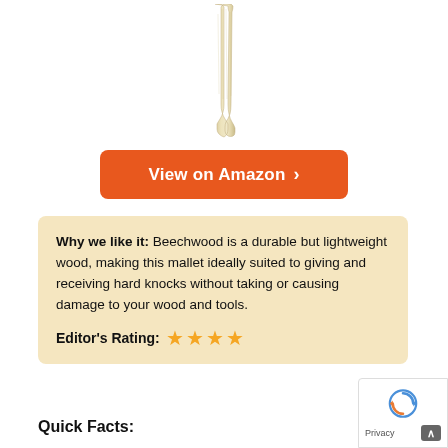[Figure (photo): A beechwood mallet handle, light tan/cream colored wood, narrow elongated shape shown from above against white background]
View on Amazon ›
Why we like it: Beechwood is a durable but lightweight wood, making this mallet ideally suited to giving and receiving hard knocks without taking or causing damage to your wood and tools.
Editor's Rating: ★★★★
Quick Facts: